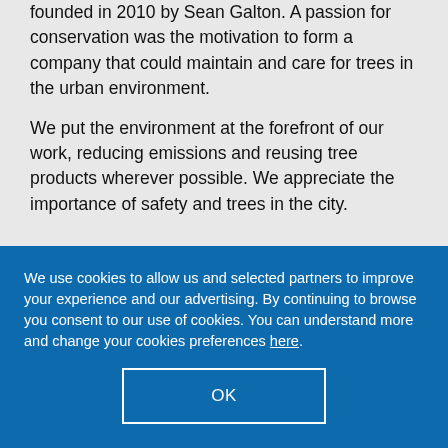founded in 2010 by Sean Galton. A passion for conservation was the motivation to form a company that could maintain and care for trees in the urban environment.
We put the environment at the forefront of our work, reducing emissions and reusing tree products wherever possible. We appreciate the importance of safety and trees in the city.
We use cookies to allow us and selected partners to improve your experience and our advertising. By continuing to browse you consent to our use of cookies. You can understand more and change your cookies preferences here.
OK